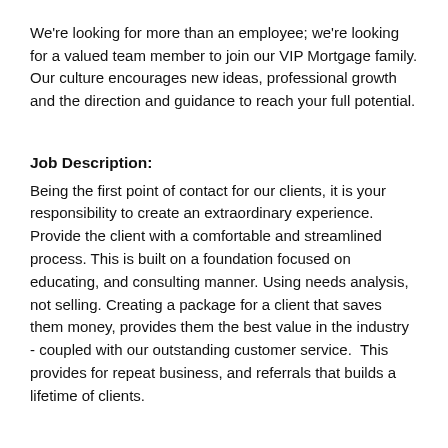We're looking for more than an employee; we're looking for a valued team member to join our VIP Mortgage family. Our culture encourages new ideas, professional growth and the direction and guidance to reach your full potential.
Job Description:
Being the first point of contact for our clients, it is your responsibility to create an extraordinary experience.  Provide the client with a comfortable and streamlined process. This is built on a foundation focused on educating, and consulting manner. Using needs analysis, not selling. Creating a package for a client that saves them money, provides them the best value in the industry - coupled with our outstanding customer service.  This provides for repeat business, and referrals that builds a lifetime of clients.
Job Responsibilities:
This position is primarily responsible for providing a positive